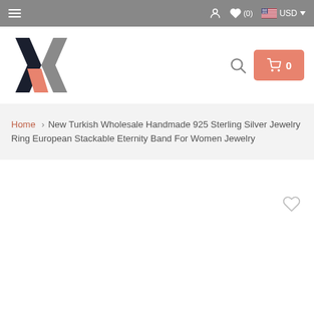Navigation bar with hamburger menu, wishlist (0), USD currency selector
[Figure (logo): X-shaped logo mark in dark navy, gray and salmon/coral colors]
Home › New Turkish Wholesale Handmade 925 Sterling Silver Jewelry Ring European Stackable Eternity Band For Women Jewelry